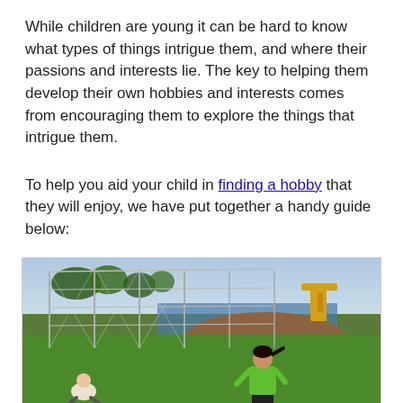While children are young it can be hard to know what types of things intrigue them, and where their passions and interests lie. The key to helping them develop their own hobbies and interests comes from encouraging them to explore the things that intrigue them.
To help you aid your child in finding a hobby that they will enjoy, we have put together a handy guide below:
[Figure (photo): A young girl in a green shirt and dark shorts playing on a green grass field with soccer balls, with a metal fence/net structure behind her, an adult sitting on the grass to the left, construction machinery visible in the background, and trees and hills in the distance.]